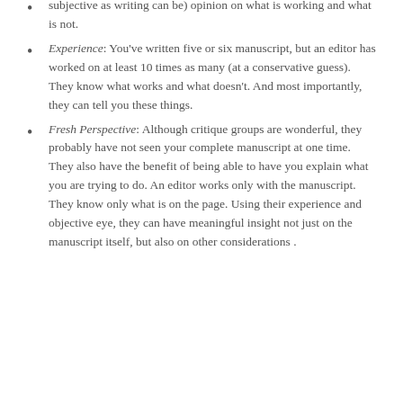subjective as writing can be) opinion on what is working and what is not.
Experience: You've written five or six manuscript, but an editor has worked on at least 10 times as many (at a conservative guess). They know what works and what doesn't. And most importantly, they can tell you these things.
Fresh Perspective: Although critique groups are wonderful, they probably have not seen your complete manuscript at one time. They also have the benefit of being able to have you explain what you are trying to do. An editor works only with the manuscript. They know only what is on the page. Using their experience and objective eye, they can have meaningful insight not just on the manuscript itself, but also on other considerations .